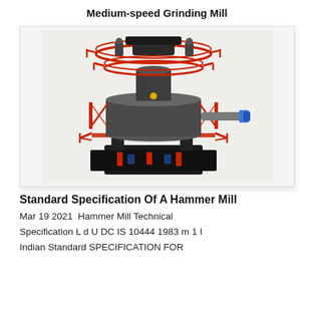Medium-speed Grinding Mill
[Figure (photo): Photograph of a medium-speed grinding mill / hammer mill industrial machine with red framework, dark grey body, cylindrical tower, and horizontal pipe extending to the right with a blue coupling end.]
Standard Specification Of A Hammer Mill
Mar 19 2021  Hammer Mill Technical
Specification L d U DC IS 10444 1983 m 1 I
Indian Standard SPECIFICATION FOR